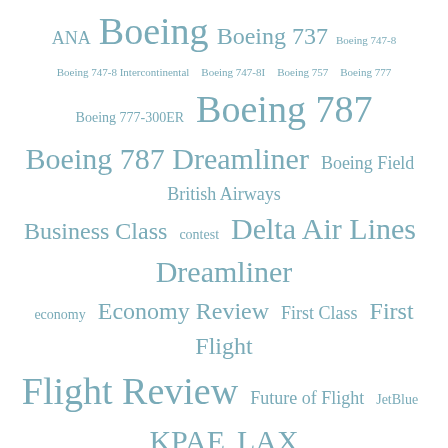[Figure (infographic): Tag cloud with aviation/travel related terms in varying sizes and a blue-grey color. Terms include: ANA, Boeing, Boeing 737, Boeing 747-8, Boeing 747-8 Intercontinental, Boeing 747-8I, Boeing 757, Boeing 777, Boeing 777-300ER, Boeing 787, Boeing 787 Dreamliner, Boeing Field, British Airways, Business Class, contest, Delta Air Lines, Dreamliner, economy, Economy Review, First Class, First Flight, Flight Review, Future of Flight, JetBlue, KPAE, LAX, Livery of the Week, My Review, PAE, Paine Field, Photos, Qatar Airways, Ryanair, Safety, SEA, Seattle, Seattle-Tacoma International Airport, Southwest Airlines, TSA, United, United Airlines, Video, Virgin America]
RECENT COMMENTS:
makrome salıncak on JFK is Breaking Ground on a